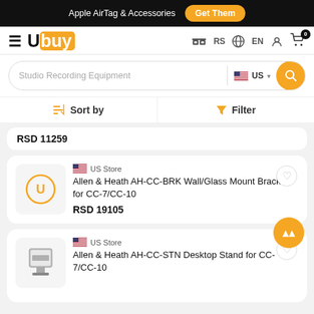Apple AirTag & Accessories  Get Them
[Figure (logo): Ubuy logo with hamburger menu icon on left side of navigation bar]
RS  EN  [user icon]  [cart icon with 0 badge]
Studio Recording Equipment  US  [search button]
Sort by   Filter
RSD 11259
US Store
Allen & Heath AH-CC-BRK Wall/Glass Mount Bracket for CC-7/CC-10
RSD 19105
US Store
Allen & Heath AH-CC-STN Desktop Stand for CC-7/CC-10